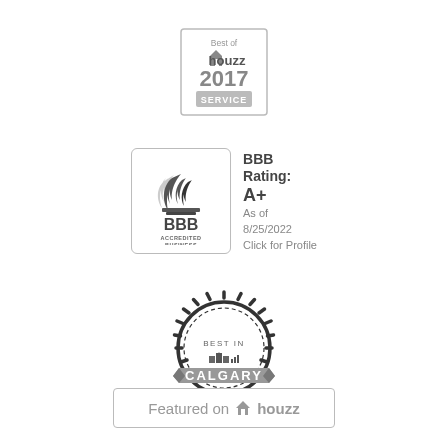[Figure (logo): Best of Houzz 2017 Service badge - square badge with Houzz logo and year 2017]
[Figure (logo): BBB Accredited Business badge with A+ rating as of 8/25/2022, click for profile]
[Figure (logo): Best in Calgary circular badge with ribbon]
[Figure (logo): Featured on Houzz rectangular badge]